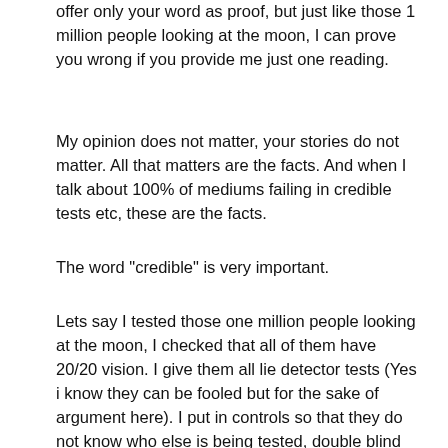offer only your word as proof, but just like those 1 million people looking at the moon, I can prove you wrong if you provide me just one reading.
My opinion does not matter, your stories do not matter. All that matters are the facts. And when I talk about 100% of mediums failing in credible tests etc, these are the facts.
The word "credible" is very important.
Lets say I tested those one million people looking at the moon, I checked that all of them have 20/20 vision. I give them all lie detector tests (Yes i know they can be fooled but for the sake of argument here). I put in controls so that they do not know who else is being tested, double blind controls even, hell triple blind controls. I put every control in possible, yet all 1 million still say the same thing. Is that a credible test?
"But they were double blind tests"
"The results were overwhelming"